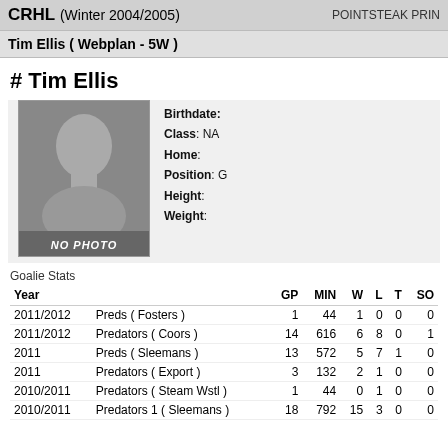CRHL (Winter 2004/2005)    POINTSTEAK PRIN
Tim Ellis ( Webplan - 5W )
# Tim Ellis
[Figure (photo): Placeholder silhouette photo with NO PHOTO label]
Birthdate:
Class: NA
Home:
Position: G
Height:
Weight:
Goalie Stats
| Year |  | GP | MIN | W | L | T | SO |
| --- | --- | --- | --- | --- | --- | --- | --- |
| 2011/2012 | Preds ( Fosters ) | 1 | 44 | 1 | 0 | 0 | 0 |
| 2011/2012 | Predators ( Coors ) | 14 | 616 | 6 | 8 | 0 | 1 |
| 2011 | Preds ( Sleemans ) | 13 | 572 | 5 | 7 | 1 | 0 |
| 2011 | Predators ( Export ) | 3 | 132 | 2 | 1 | 0 | 0 |
| 2010/2011 | Predators ( Steam Wstl ) | 1 | 44 | 0 | 1 | 0 | 0 |
| 2010/2011 | Predators 1 ( Sleemans ) | 18 | 792 | 15 | 3 | 0 | 0 |